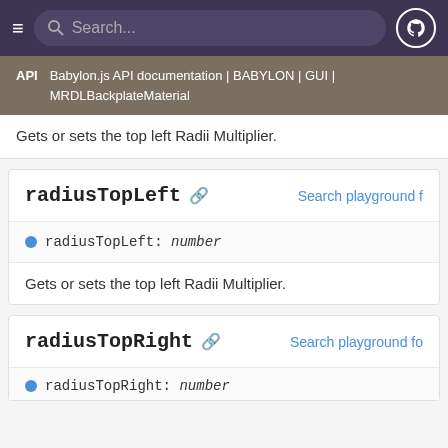≡  Search...  [GitHub icon]
API  Babylon.js API documentation | BABYLON | GUI | MRDLBackplateMaterial
Gets or sets the top left Radii Multiplier.
radiusTopLeft  🔗  Search playground f
● radiusTopLeft: number
Gets or sets the top left Radii Multiplier.
radiusTopRight  🔗  Search playground fo